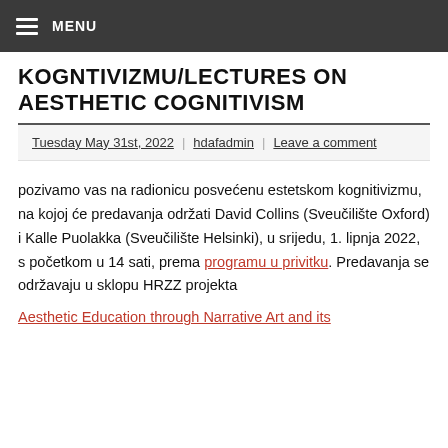MENU
KOGNTIVIZMU/LECTURES ON AESTHETIC COGNITIVISM
Tuesday May 31st, 2022 | hdafadmin | Leave a comment
pozivamo vas na radionicu posvećenu estetskom kognitivizmu, na kojoj će predavanja održati David Collins (Sveučilište Oxford) i Kalle Puolakka (Sveučilište Helsinki), u srijedu, 1. lipnja 2022, s početkom u 14 sati, prema programu u privitku. Predavanja se održavaju u sklopu HRZZ projekta
Aesthetic Education through Narrative Art and its